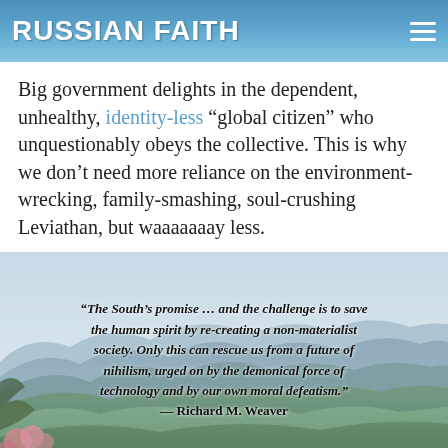RUSSIAN FAITH
Big government delights in the dependent, unhealthy, identity-less “global citizen” who unquestionably obeys the collective. This is why we don’t need more reliance on the environment-wrecking, family-smashing, soul-crushing Leviathan, but waaaaaaay less.
[Figure (photo): Mountain landscape with layered blue-green ridges under overcast sky, with flowering trees in foreground. Overlaid with a bold italic quote: 'The South's promise ... and the challenge is to save the human spirit by re-creating a non-materialist society. Only this can rescue us from a future of nihilism, urged on by the demonical force of technology and by our own moral defeatism.' — Richard M. Weaver]